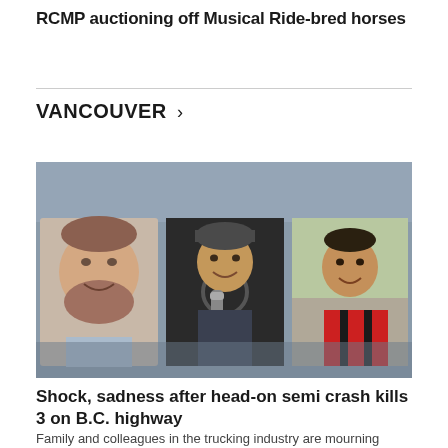RCMP auctioning off Musical Ride-bred horses
VANCOUVER >
[Figure (photo): A collage of three photos showing three individuals: a smiling bearded man on the left, a man holding a microphone in a vehicle in the center, and a man in a red and black striped jersey on the right. Background is blurred gray tones.]
Shock, sadness after head-on semi crash kills 3 on B.C. highway
Family and colleagues in the trucking industry are mourning